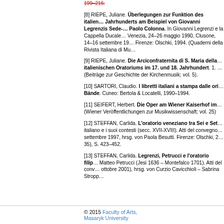[8] RIEPE, Juliane. Überlegungen zur Funktion des italienischen Oratoriums im 17. Jahrhundert am Beispiel von Giovanni Legrenzis Sedecias des Paolo Colonna. In Giovanni Legrenzi e la Cappella Ducale di San Marco. Venezia, 24–26 maggio 1990, Clusone, 14–16 settembre 1990, hrsg. von... Firenze: Olschki, 1994. (Quaderni della Rivista Italiana di Mu... 199–216.
[9] RIEPE, Juliane. Die Arciconfraternita di S. Maria della... italienischen Oratoriums im 17. und 18. Jahrhundert. 1. ... (Beiträge zur Geschichte der Kirchenmusik; vol. 5).
[10] SARTORI, Claudio. I libretti italiani a stampa dalle ori... Bände. Cuneo: Bertola & Locatelli, 1990–1994.
[11] SEIFERT, Herbert. Die Oper am Wiener Kaiserhof im... (Wiener Veröffentlichungen zur Musikwissenschaft; vol. 25)
[12] STEFFAN, Carlida. L'oratorio veneziano tra Sei e Set... italiano e i suoi contesti (secc. XVII-XVIII). Atti del convegno... settembre 1997, hrsg. von Paola Besutti. Firenze: Olschki, 2... 35), S. 423–452.
[13] STEFFAN, Carlida. Legrenzi, Petrucci e l'oratorio filip... Matteo Petrucci (Jesi 1636 – Montefalco 1701). Atti del conv... ottobre 2001), hrsg. von Curzio Cavicchioli – Sabrina Stropp...
© 2015 Faculty of Arts, Masaryk University